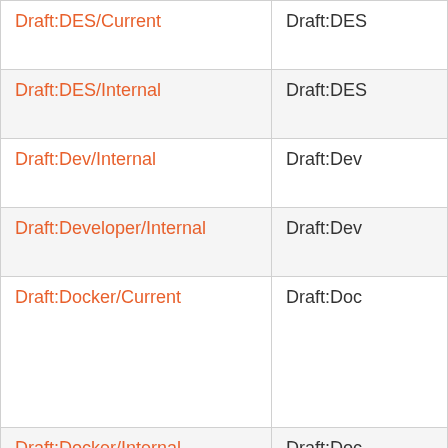| Draft:DES/Current | Draft:DES... |
| Draft:DES/Internal | Draft:DES... |
| Draft:Dev/Internal | Draft:Dev... |
| Draft:Developer/Internal | Draft:Dev... |
| Draft:Docker/Current | Draft:Doc... |
| Draft:Docker/Internal | Draft:Doc... |
| Draft:FieldSupport/Internal | Draft:Fiel... |
| Draft:FieldSupport/Private... | Draft:Fiel... |